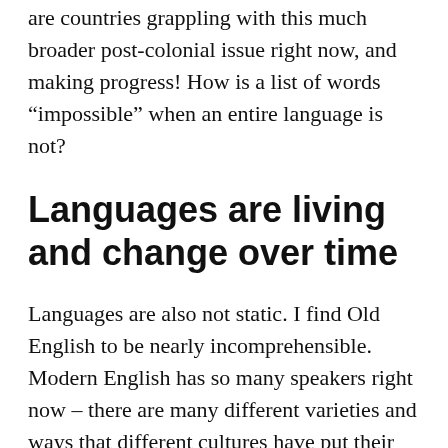are countries grappling with this much broader post-colonial issue right now, and making progress! How is a list of words “impossible” when an entire language is not?
Languages are living and change over time
Languages are also not static. I find Old English to be nearly incomprehensible. Modern English has so many speakers right now – there are many different varieties and ways that different cultures have put their mark on it. A language has a connection to the thought structure of its past